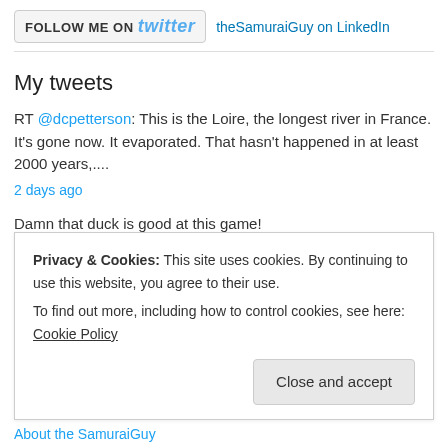[Figure (other): Follow me on Twitter button and LinkedIn profile link for theSamuraiGuy]
My tweets
RT @dcpetterson: This is the Loire, the longest river in France. It's gone now. It evaporated. That hasn't happened in at least 2000 years,....
2 days ago
Damn that duck is good at this game! twitter.com/davenewworld_2...
3 days ago
RT @normanswan: Huge study. Worrying findings. We're letting this rip
Privacy & Cookies: This site uses cookies. By continuing to use this website, you agree to their use. To find out more, including how to control cookies, see here: Cookie Policy
About the SamuraiGuy